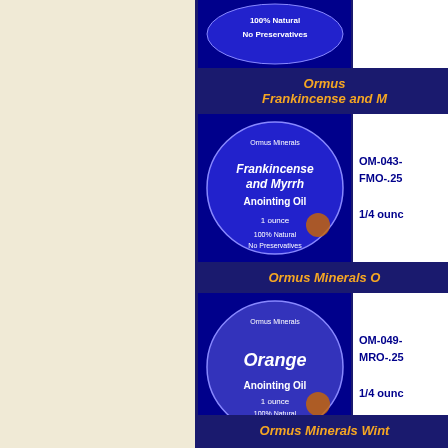[Figure (photo): Product image partially visible at top - Anointing Oil bottle with '100% Natural No Preservatives' text]
Ormus Frankincense and M
[Figure (photo): Ormus Minerals Frankincense and Myrrh Anointing Oil 1 ounce product label - 100% Natural No Preservatives]
OM-043- FMO-.25 1/4 ounc
Ormus Minerals O
[Figure (photo): Ormus Minerals Orange Anointing Oil 1 ounce product label - 100% Natural No Preservatives]
OM-049- MRO-.25 1/4 ounc
Ormus Minerals Wint